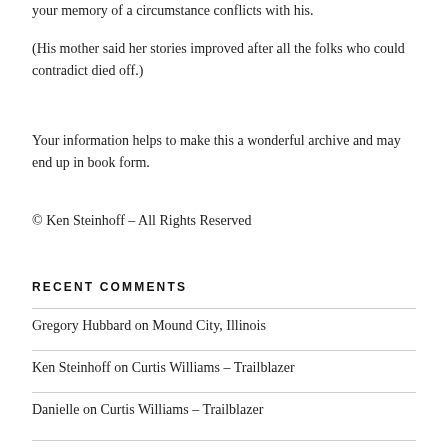your memory of a circumstance conflicts with his.
(His mother said her stories improved after all the folks who could contradict died off.)
Your information helps to make this a wonderful archive and may end up in book form.
© Ken Steinhoff – All Rights Reserved
RECENT COMMENTS
Gregory Hubbard on Mound City, Illinois
Ken Steinhoff on Curtis Williams – Trailblazer
Danielle on Curtis Williams – Trailblazer